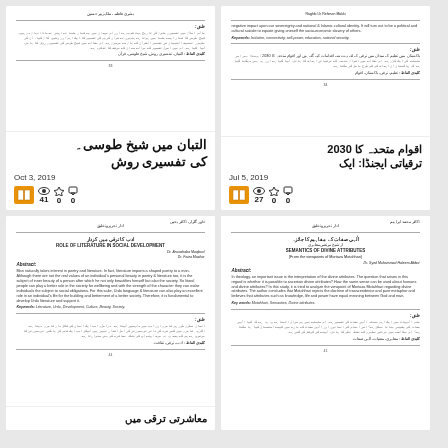[Figure (screenshot): Document card top-left: Urdu academic paper preview with abstract and keywords, showing page number 33]
التبان میں شیخ طوسی۔ کی تفسیری روش
Oct 3, 2019
41 views, 0 stars, 0 comments
[Figure (screenshot): Document card top-right: Urdu academic paper preview with English abstract about isolation, community, rights, education, national security. Page number shown.]
اقوام متحدہ کا 2030 ترقیاتی ایجنڈا: ایک
Jul 5, 2019
27 views, 0 stars, 0 comments
[Figure (screenshot): Document card bottom-left: Academic paper preview titled 'Role of Literature in Social Development' with abstract text in English and Urdu, keywords, page number 44]
معاشرتی ترقی میں
[Figure (screenshot): Document card bottom-right: Academic paper preview titled 'Semantics of Divine Attributes' with abstract and Urdu keywords, page number 41]